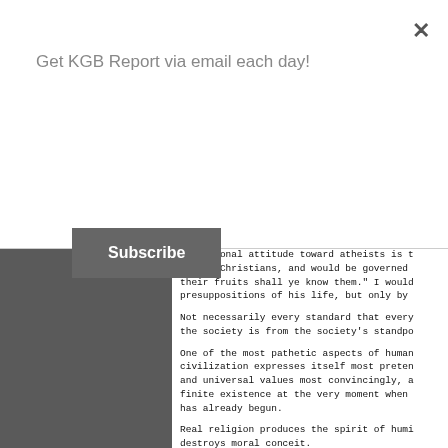Get KGB Report via email each day!
Subscribe
My personal attitude toward atheists is t... toward Christians, and would be governed ... their fruits shall ye know them." I would... presuppositions of his life, but only by ...
Not necessarily every standard that every... the society is from the society's standpo...
One of the most pathetic aspects of human... civilization expresses itself most preten... and universal values most convincingly, a... finite existence at the very moment when ... has already begun.
Real religion produces the spirit of humi... destroys moral conceit.
Reason tends to check selfish impulses an... legitimate impulses in others.